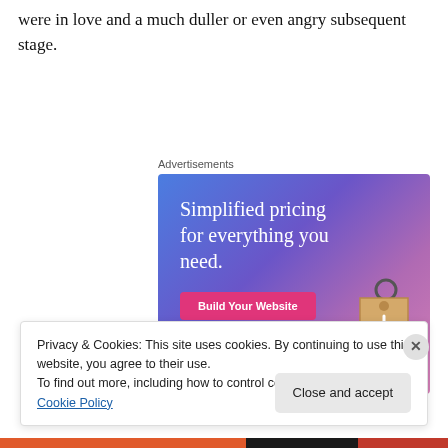were in love and a much duller or even angry subsequent stage.
Advertisements
[Figure (illustration): Advertisement banner with gradient blue-purple background, text 'Simplified pricing for everything you need.', a pink 'Build Your Website' button, and a 3D price tag graphic.]
Privacy & Cookies: This site uses cookies. By continuing to use this website, you agree to their use.
To find out more, including how to control cookies, see here: Cookie Policy
Close and accept